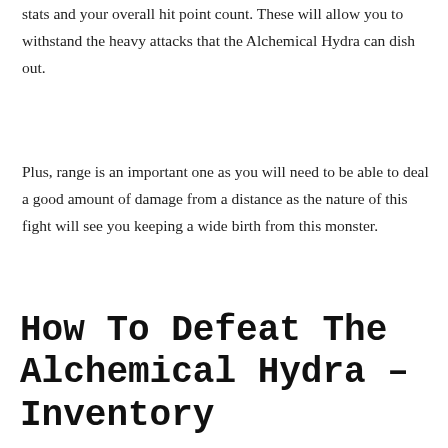stats and your overall hit point count. These will allow you to withstand the heavy attacks that the Alchemical Hydra can dish out.
Plus, range is an important one as you will need to be able to deal a good amount of damage from a distance as the nature of this fight will see you keeping a wide birth from this monster.
How To Defeat The Alchemical Hydra – Inventory